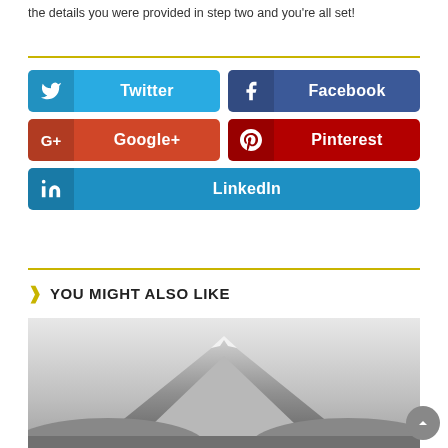the details you were provided in step two and you're all set!
[Figure (infographic): Social media sharing buttons: Twitter (light blue), Facebook (dark blue), Google+ (red-orange), Pinterest (dark red), LinkedIn (blue)]
YOU MIGHT ALSO LIKE
[Figure (photo): Black and white mountain landscape photo]